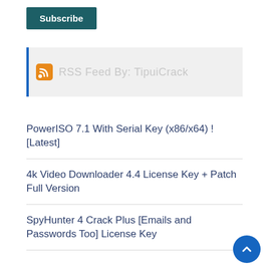Subscribe
[Figure (other): RSS feed icon with text 'RSS Feed By: TipuiCrack' on a light gray background with blue left border]
PowerISO 7.1 With Serial Key (x86/x64) ! [Latest]
4k Video Downloader 4.4 License Key + Patch Full Version
SpyHunter 4 Crack Plus [Emails and Passwords Too] License Key